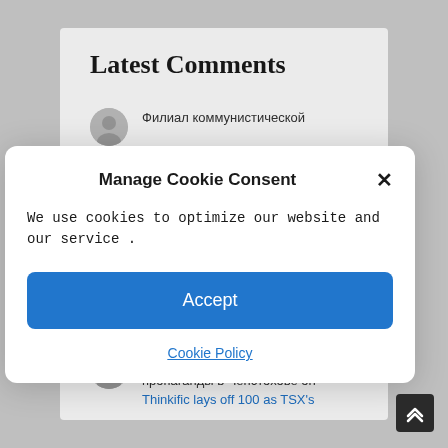Latest Comments
Филиал коммунистической
Manage Cookie Consent
We use cookies to optimize our website and our service .
Accept
Cookie Policy
fantastic educational post here at my…
Филиал коммунистической пропаганды в Ченстохове on Thinkific lays off 100 as TSX's